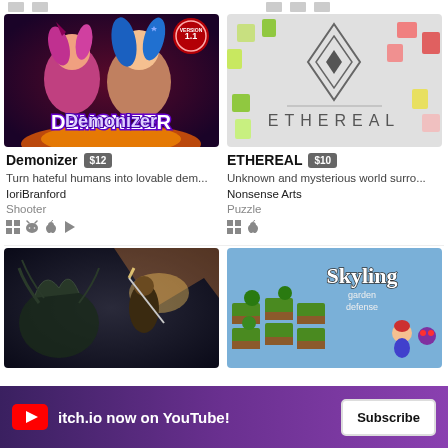[Figure (screenshot): Demonizer game thumbnail - anime style pixel art with two demon girls, purple and blue hair, 'Demonizer' logo text, VERSION 1.1 badge]
Demonizer $12
Turn hateful humans into lovable dem...
IoriBranford
Shooter
[Figure (screenshot): Ethereal game thumbnail - minimalist puzzle game with diamond geometric logo and 'ETHEREAL' text on light grey background with colorful scattered blocks]
ETHEREAL $10
Unknown and mysterious world surro...
Nonsense Arts
Puzzle
[Figure (screenshot): Dark fantasy action game thumbnail - dark scene with creature and glowing effects]
[Figure (screenshot): Skyling Garden Defense game thumbnail - isometric garden game with 'Skyling garden defense' logo]
itch.io now on YouTube! Subscribe